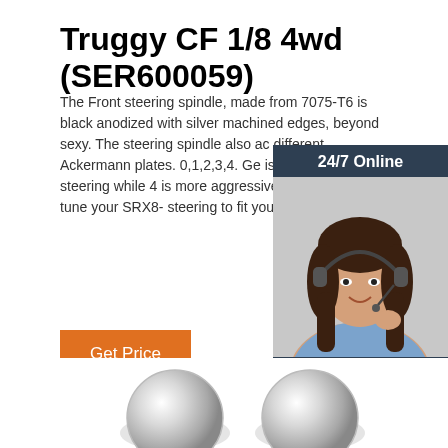Truggy CF 1/8 4wd (SER600059)
The Front steering spindle, made from 7075-T6 is black anodized with silver machined edges, beyond sexy. The steering spindle also accommodates different Ackermann plates. 0,1,2,3,4. Generally, 0 is the easiest steering while 4 is more aggressive. You can fine tune your SRX8- steering to fit your driving needs.
[Figure (infographic): Customer service chat widget with woman wearing headset, dark blue background, '24/7 Online' header, 'Click here for free chat!' text, and orange QUOTATION button]
Get Price
[Figure (photo): Two silver metallic circular objects (spindles) shown at bottom of page]